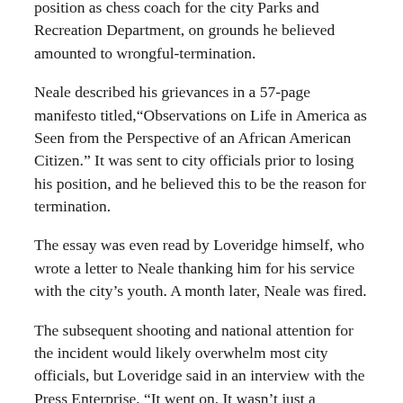position as chess coach for the city Parks and Recreation Department, on grounds he believed amounted to wrongful-termination.
Neale described his grievances in a 57-page manifesto titled,“Observations on Life in America as Seen from the Perspective of an African American Citizen.” It was sent to city officials prior to losing his position, and he believed this to be the reason for termination.
The essay was even read by Loveridge himself, who wrote a letter to Neale thanking him for his service with the city’s youth. A month later, Neale was fired.
The subsequent shooting and national attention for the incident would likely overwhelm most city officials, but Loveridge said in an interview with the Press Enterprise, “It went on. It wasn’t just a